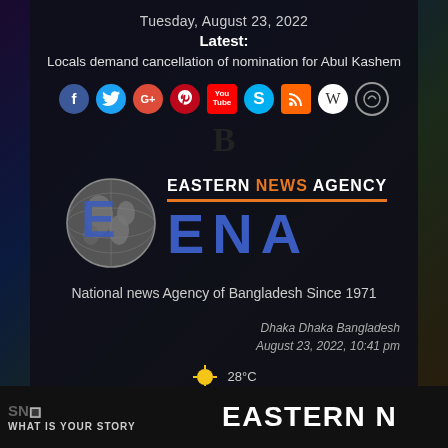Tuesday, August 23, 2022
Latest:
Locals demand cancellation of nomination for Abul Kashem
[Figure (infographic): Social media icons row: Facebook, Twitter, Google+, Pinterest, YouTube, Skype, RSS, Wikipedia, Badoo, and a bold B letter]
[Figure (logo): Eastern News Agency logo with globe graphic, orange underline, large blue ENA letters, and tagline 'National news Agency of Bangladesh Since 1971']
National news Agency of Bangladesh Since 1971
Dhaka Dhaka Bangladesh
August 23, 2022, 10:41 pm
28°C
EASTERN N | SN | WHAT IS YOUR STORY